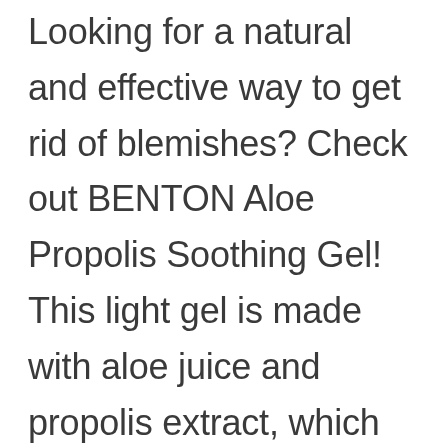Looking for a natural and effective way to get rid of blemishes? Check out BENTON Aloe Propolis Soothing Gel! This light gel is made with aloe juice and propolis extract, which have been proven to soothe your skin and heal your acne scars. Not only that, but they also have good antiseptic and regenerative powers, which means that you'll be able to see a noticeable difference in the brightness and severity of